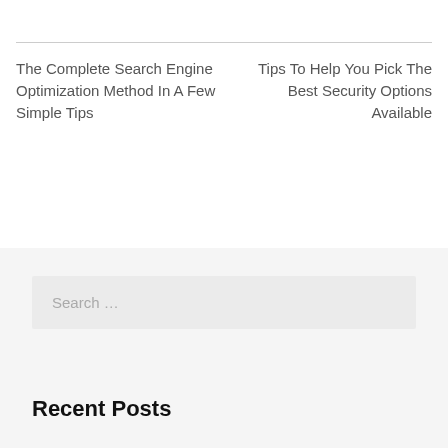The Complete Search Engine Optimization Method In A Few Simple Tips
Tips To Help You Pick The Best Security Options Available
Search …
Recent Posts
SEO Matters. Learn The Basics Right Here.